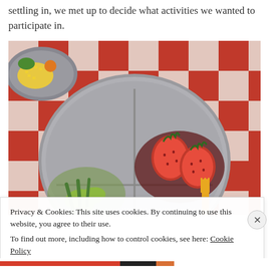settling in, we met up to decide what activities we wanted to participate in.
[Figure (photo): A divided metal camp-style plate with strawberries in one section, sliced avocado and greens in another section, placed on a red and white checkered tablecloth. A yellow plastic fork is visible on the right. In the upper left, a bowl with yellow food (corn/egg dish) and greens is partially visible.]
Privacy & Cookies: This site uses cookies. By continuing to use this website, you agree to their use.
To find out more, including how to control cookies, see here: Cookie Policy
Close and accept